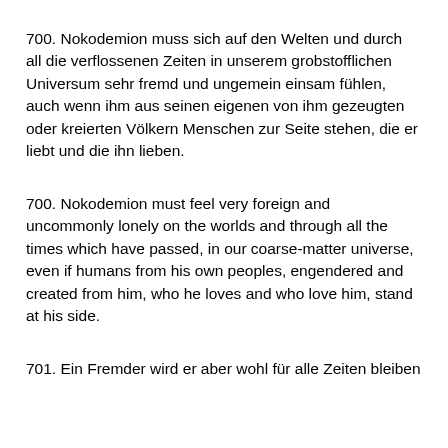700. Nokodemion muss sich auf den Welten und durch all die verflossenen Zeiten in unserem grobstofflichen Universum sehr fremd und ungemein einsam fühlen, auch wenn ihm aus seinen eigenen von ihm gezeugten oder kreierten Völkern Menschen zur Seite stehen, die er liebt und die ihn lieben.
700. Nokodemion must feel very foreign and uncommonly lonely on the worlds and through all the times which have passed, in our coarse-matter universe, even if humans from his own peoples, engendered and created from him, who he loves and who love him, stand at his side.
701. Ein Fremder wird er aber wohl für alle Zeiten bleiben